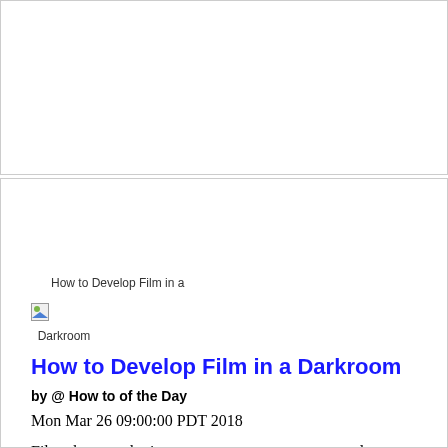[Figure (illustration): Broken image placeholder for article thumbnail showing 'How to Develop Film in a Darkroom']
How to Develop Film in a Darkroom
by @ How to of the Day
Mon Mar 26 09:00:00 PDT 2018
Film photography is a great way to capture personal, unique, and long-lasting photographs. The first step in turning the captured exposures on your film camera into physical prints is developing the film. Taking the time to develop your film correctly is critical if you want your prints to turn out beautifully. To develop your film, you'll need some basic photography tools and chemicals, as well as access to a dark room.